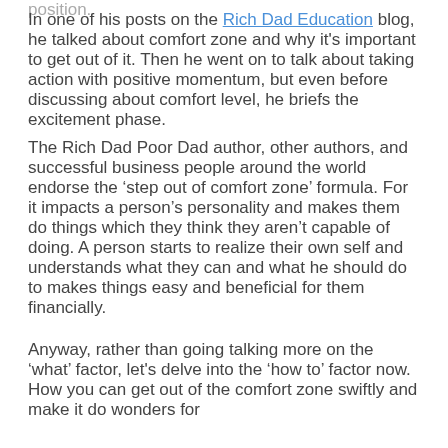position.
In one of his posts on the Rich Dad Education blog, he talked about comfort zone and why it's important to get out of it. Then he went on to talk about taking action with positive momentum, but even before discussing about comfort level, he briefs the excitement phase.
The Rich Dad Poor Dad author, other authors, and successful business people around the world endorse the ‘step out of comfort zone’ formula. For it impacts a person’s personality and makes them do things which they think they aren’t capable of doing. A person starts to realize their own self and understands what they can and what he should do to makes things easy and beneficial for them financially.
Anyway, rather than going talking more on the ‘what’ factor, let's delve into the ‘how to’ factor now. How you can get out of the comfort zone swiftly and make it do wonders for